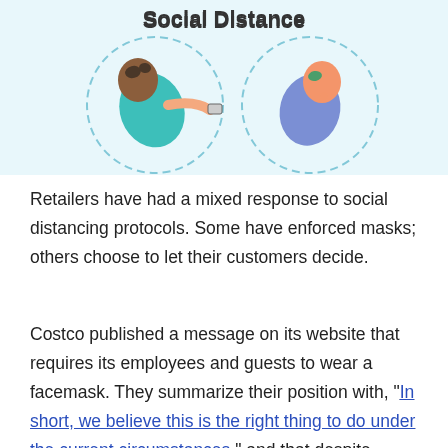[Figure (illustration): Illustration showing two people maintaining social distance, viewed from above. Title reads 'Social Distance'. One person on the left wearing a teal/turquoise outfit reaching toward a phone, another person on the right wearing a blue/purple outfit. Both surrounded by dashed circular outlines indicating personal space. Light blue background.]
Retailers have had a mixed response to social distancing protocols. Some have enforced masks; others choose to let their customers decide.
Costco published a message on its website that requires its employees and guests to wear a facemask. They summarize their position with, "In short, we believe this is the right thing to do under the current circumstances," and that despite those who